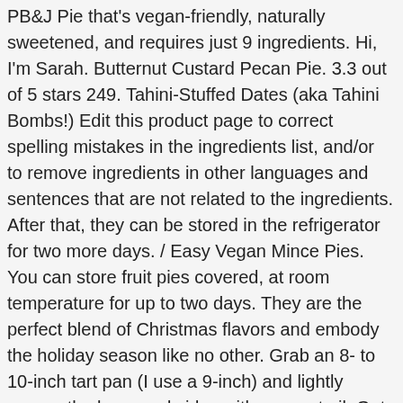PB&J Pie that's vegan-friendly, naturally sweetened, and requires just 9 ingredients. Hi, I'm Sarah. Butternut Custard Pecan Pie. 3.3 out of 5 stars 249. Tahini-Stuffed Dates (aka Tahini Bombs!) Edit this product page to correct spelling mistakes in the ingredients list, and/or to remove ingredients in other languages and sentences that are not related to the ingredients. After that, they can be stored in the refrigerator for two more days. / Easy Vegan Mince Pies. You can store fruit pies covered, at room temperature for up to two days. They are the perfect blend of Christmas flavors and embody the holiday season like no other. Grab an 8- to 10-inch tart pan (I use a 9-inch) and lightly grease the base and sides with coconut oil. Get your snack on anywhere with these yummy pies. Crust: The crust is super easy to make and is a simple mix of almond, dates, cinnamon and water. I personally, prefer to make the pie crust myself, because I like knowing which ingredients the pastry contains, that's the beauty of making it yourself. Case in point: these raspberry bars. There are 390 calories in 1 PIE (4.5 oz) of Franz Fruit Pie, Cherry. This product is not considered a